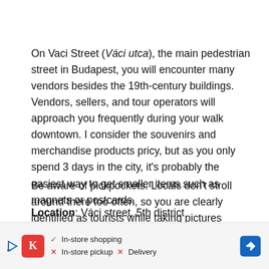On Vaci Street (Váci utca), the main pedestrian street in Budapest, you will encounter many vendors besides the 19th-century buildings. Vendors, sellers, and tour operators will approach you frequently during your walk downtown. I consider the souvenirs and merchandise products pricy, but as you only spend 3 days in the city, it's probably the easiest way to get smaller items such as magnets or postcards.
Be aware of pickpockets. Locals don't stroll around there too often, so you are clearly identified as tourists while taking pictures continuously.
Location: Váci street, 5th district
[Figure (other): Advertisement banner: Kroger store ad with play icon, red K logo, checkmarks for In-store shopping, X marks for In-store pickup and Delivery, and a blue navigation arrow icon on the right.]